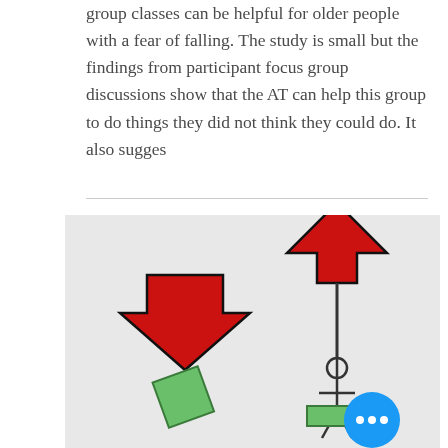group classes can be helpful for older people with a fear of falling. The study is small but the findings from participant focus group discussions show that the AT can help this group to do things they did not think they could do. It also sugges
[Figure (illustration): Illustration showing two red arrows (one pointing down on the left, one pointing up on the right) above two figures. The right figure appears to be a stick person holding up the upward arrow on a stick. Both figures stand on green platforms. A blue circle with three dots (ellipsis/more button) appears at bottom right.]